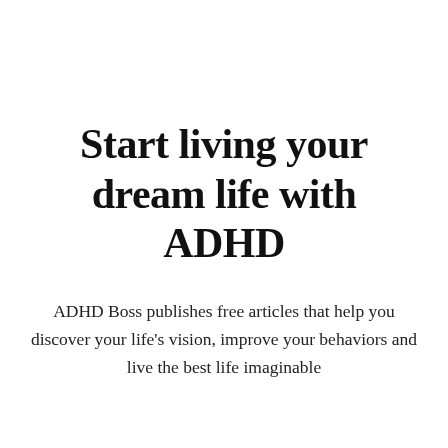Start living your dream life with ADHD
ADHD Boss publishes free articles that help you discover your life's vision, improve your behaviors and live the best life imaginable